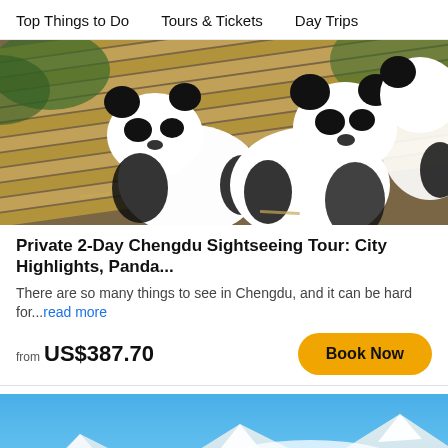Top Things to Do   Tours & Tickets   Day Trips
[Figure (photo): Giant pandas resting on bamboo platforms at a panda breeding center in Chengdu, China]
Private 2-Day Chengdu Sightseeing Tour: City Highlights, Panda...
There are so many things to see in Chengdu, and it can be hard for...read more
from US$387.70
[Figure (photo): Scenic mountain landscape in Chengdu area with snow-capped peaks, blue sky, lush green and yellow autumn foliage, and a traditional Chinese temple building in the foreground]